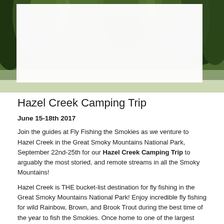[Figure (photo): Forest/nature photograph showing trees with green foliage, partially obscured by a white overlay box in the upper center area]
Hazel Creek Camping Trip
June 15-18th 2017
Join the guides at Fly Fishing the Smokies as we venture to Hazel Creek in the Great Smoky Mountains National Park, September 22nd-25th for our Hazel Creek Camping Trip to arguably the most storied, and remote streams in all the Smoky Mountains!
Hazel Creek is THE bucket-list destination for fly fishing in the Great Smoky Mountains National Park! Enjoy incredible fly fishing for wild Rainbow, Brown, and Brook Trout during the best time of the year to fish the Smokies. Once home to one of the largest mining and logging communities in the Smoky Mountains, Hazel Creek is steeped in